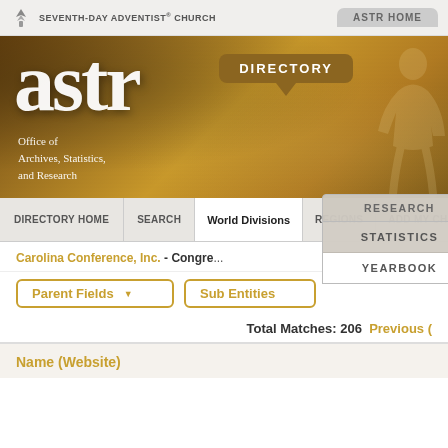[Figure (screenshot): Seventh-day Adventist Church logo with flame/leaf symbol and organization name in small caps]
ASTR HOME
[Figure (screenshot): ASTR banner with large serif 'astr' text, subtitle 'Office of Archives, Statistics, and Research', golden/brown textured background, Directory bubble callout, and faint human figure silhouette]
DIRECTORY
DIRECTORY HOME | SEARCH | World Divisions | REGIONS | ADD MY CH...
RESEARCH
STATISTICS
YEARBOOK
Carolina Conference, Inc. - Congre...
Parent Fields ▼   Sub Entities
Total Matches: 206   Previous (
Name (Website)